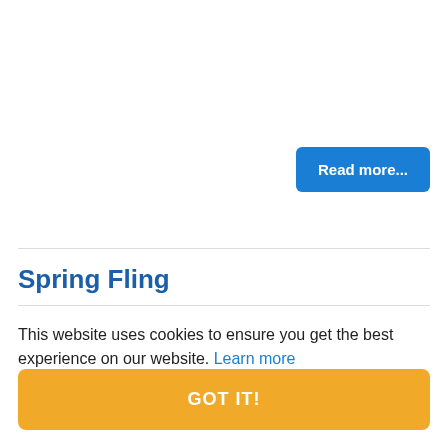Read more...
Spring Fling
This website uses cookies to ensure you get the best experience on our website. Learn more
GOT IT!